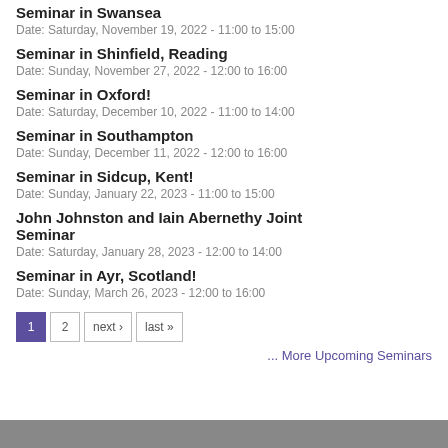Seminar in Swansea
Date: Saturday, November 19, 2022 - 11:00 to 15:00
Seminar in Shinfield, Reading
Date: Sunday, November 27, 2022 - 12:00 to 16:00
Seminar in Oxford!
Date: Saturday, December 10, 2022 - 11:00 to 14:00
Seminar in Southampton
Date: Sunday, December 11, 2022 - 12:00 to 16:00
Seminar in Sidcup, Kent!
Date: Sunday, January 22, 2023 - 11:00 to 15:00
John Johnston and Iain Abernethy Joint Seminar
Date: Saturday, January 28, 2023 - 12:00 to 14:00
Seminar in Ayr, Scotland!
Date: Sunday, March 26, 2023 - 12:00 to 16:00
1
2
next ›
last »
... More Upcoming Seminars